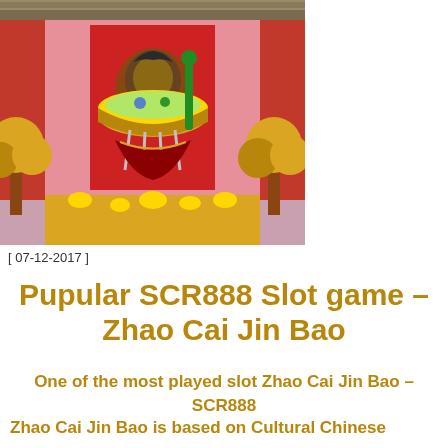[Figure (illustration): Colorful Chinese-themed slot game illustration showing a deity/god figure holding a large golden bowl/cauldron with decorative trees and red temple architecture in the background]
[ 07-12-2017 ]
Pupular SCR888 Slot game - Zhao Cai Jin Bao
One of the most played slot Zhao Cai Jin Bao - SCR888
Zhao Cai Jin Bao is based on Cultural Chinese theme slot machines and Zhao Cai Jin Bao is yet